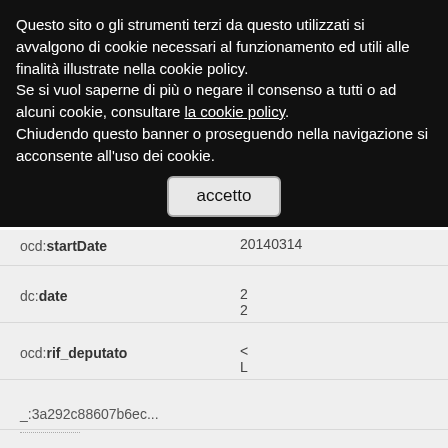Questo sito o gli strumenti terzi da questo utilizzati si avvalgono di cookie necessari al funzionamento ed utili alle finalità illustrate nella cookie policy.
Se si vuol saperne di più o negare il consenso a tutti o ad alcuni cookie, consultare la cookie policy.
Chiudendo questo banner o proseguendo nella navigazione si acconsente all'uso dei cookie.
accetto
| Property | Value | Type |
| --- | --- | --- |
| ocd:startDate | 20140314 |  |
| dc:date | 2
2 |  |
| ocd:rif_deputato | <
L |  |
|  | _:3a292c88607b6ec... |  |
| rdfs:label | F | xsd:string |